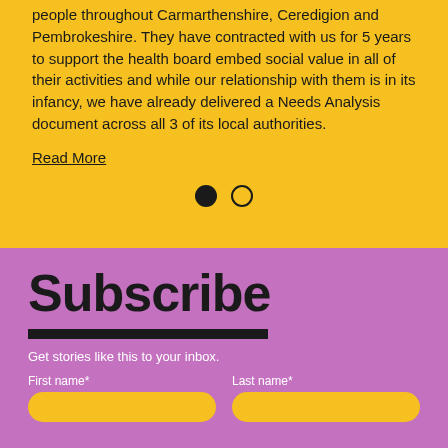people throughout Carmarthenshire, Ceredigion and Pembrokeshire. They have contracted with us for 5 years to support the health board embed social value in all of their activities and while our relationship with them is in its infancy, we have already delivered a Needs Analysis document across all 3 of its local authorities.
Read More
[Figure (other): Carousel navigation dots: one filled black circle and one empty circle outline]
Subscribe
Get stories like this to your inbox.
First name*
Last name*